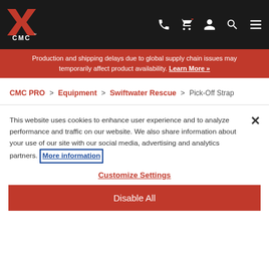CMC logo navigation bar with phone, cart, account, search, and menu icons
Production and shipping delays due to global supply chain issues may temporarily affect product availability. Learn More »
CMC PRO > Equipment > Swiftwater Rescue > Pick-Off Strap
This website uses cookies to enhance user experience and to analyze performance and traffic on our website. We also share information about your use of our site with our social media, advertising and analytics partners. More information
Customize Settings
Disable All